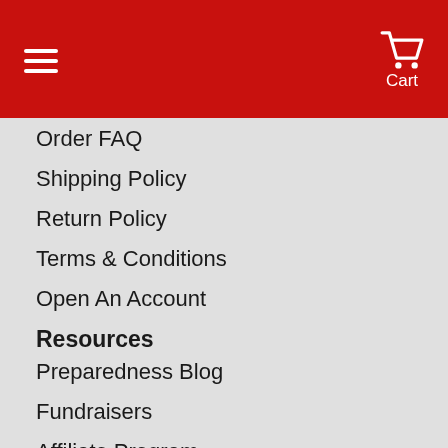Cart
Order FAQ
Shipping Policy
Return Policy
Terms & Conditions
Open An Account
Resources
Preparedness Blog
Fundraisers
Affiliate Program
ShakeOut Shop
Site Map
Request A Catalog